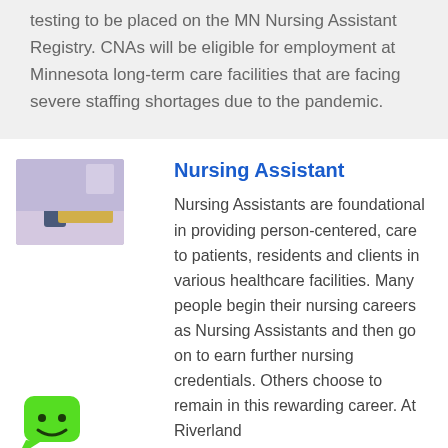testing to be placed on the MN Nursing Assistant Registry. CNAs will be eligible for employment at Minnesota long-term care facilities that are facing severe staffing shortages due to the pandemic.
[Figure (photo): Photo of a nursing assistant in a healthcare setting, woman in scrubs working with a patient]
Nursing Assistant
Nursing Assistants are foundational in providing person-centered, care to patients, residents and clients in various healthcare facilities. Many people begin their nursing careers as Nursing Assistants and then go on to earn further nursing credentials. Others choose to remain in this rewarding career. At Riverland
[Figure (illustration): Green cartoon chatbot or mascot icon with a friendly face]